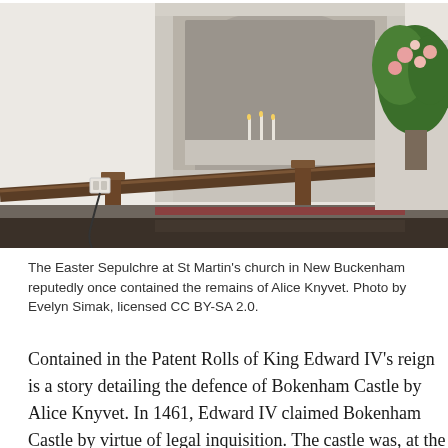[Figure (photo): Interior photo of the Easter Sepulchre at St Martin's church in New Buckenham. Shows a stone altar with candles beneath a large stone arch, wooden communion rail with ornate columns crossing in front, floral arrangement of greenery and flowers on the right side, and a white wall with electrical socket visible on the left.]
The Easter Sepulchre at St Martin's church in New Buckenham reputedly once contained the remains of Alice Knyvet. Photo by Evelyn Simak, licensed CC BY-SA 2.0.
Contained in the Patent Rolls of King Edward IV's reign is a story detailing the defence of Bokenham Castle by Alice Knyvet. In 1461, Edward IV claimed Bokenham Castle by virtue of legal inquisition. The castle was, at the time, owned and occupied by John and Alice Knyvet, who did not easily relinquish their estate. The king sent nine commissioners and